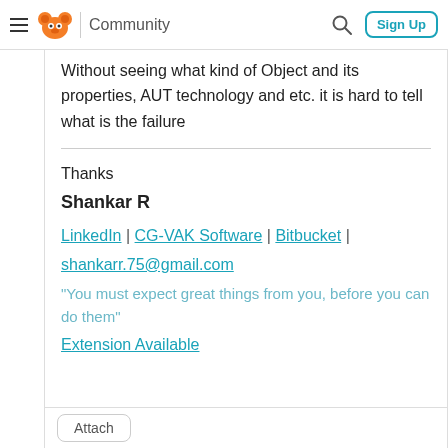Community | Sign Up
Without seeing what kind of Object and its properties, AUT technology and etc. it is hard to tell what is the failure
Thanks
Shankar R
LinkedIn | CG-VAK Software | Bitbucket |
shankarr.75@gmail.com
"You must expect great things from you, before you can do them"
Extension Available